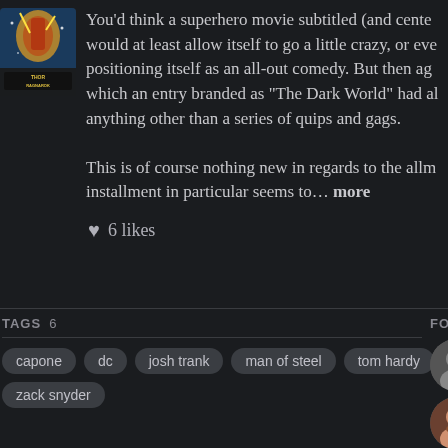[Figure (illustration): Thor Ragnarok movie poster thumbnail showing colorful comic-style artwork with 'THOR RAGNAROK' text at bottom]
You'd think a superhero movie subtitled (and cente... would at least allow itself to go a little crazy, or eve... positioning itself as an all-out comedy. But then ag... which an entry branded as "The Dark World" had al... anything other than a series of quips and gags.

This is of course nothing new in regards to the allm... installment in particular seems to... more
♥ 6 likes
TAGS
capone
dc
josh trank
man of steel
tom hardy
zack snyder
FOLLOWING
[Figure (photo): Grid of circular avatar photos showing various user profile pictures and the Rotten Tomatoes logo]